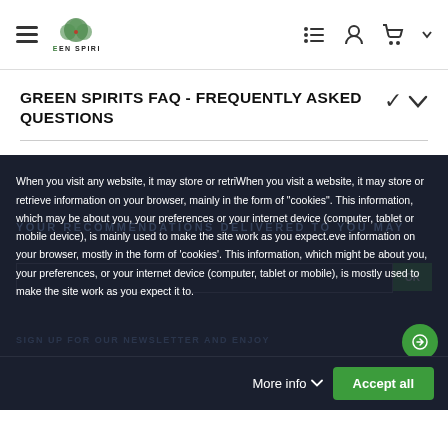[Figure (logo): Green Spirits logo with stylized tree/leaves icon and text 'GREEN SPIRITS' below]
GREEN SPIRITS FAQ - FREQUENTLY ASKED QUESTIONS
When you visit any website, it may store or retriWhen you visit a website, it may store or retrieve information on your browser, mainly in the form of "cookies". This information, which may be about you, your preferences or your internet device (computer, tablet or mobile device), is mainly used to make the site work as you expect.eve information on your browser, mostly in the form of 'cookies'. This information, which might be about you, your preferences, or your internet device (computer, tablet or mobile), is mostly used to make the site work as you expect it to.
More info
Accept all